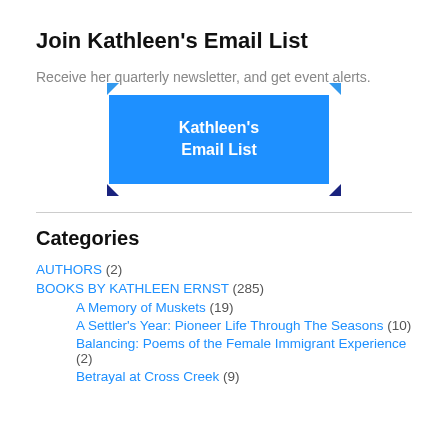Join Kathleen's Email List
Receive her quarterly newsletter, and get event alerts.
[Figure (other): Blue button with corner bracket decorations reading 'Kathleen's Email List']
Categories
AUTHORS (2)
BOOKS BY KATHLEEN ERNST (285)
A Memory of Muskets (19)
A Settler's Year: Pioneer Life Through The Seasons (10)
Balancing: Poems of the Female Immigrant Experience (2)
Betrayal at Cross Creek (9)